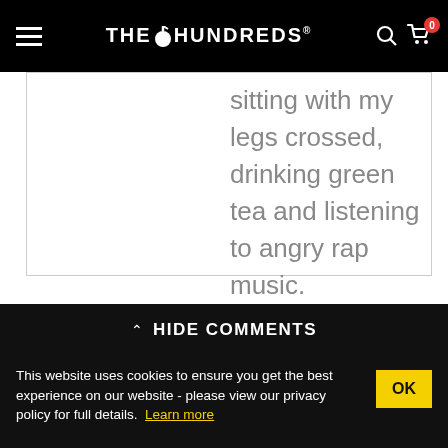THE HUNDREDS
sitting with my legs crossed, drinking green tea and listening to angry rap music.
^ HIDE COMMENTS
This website uses cookies to ensure you get the best experience on our website - please view our privacy policy for full details. Learn more